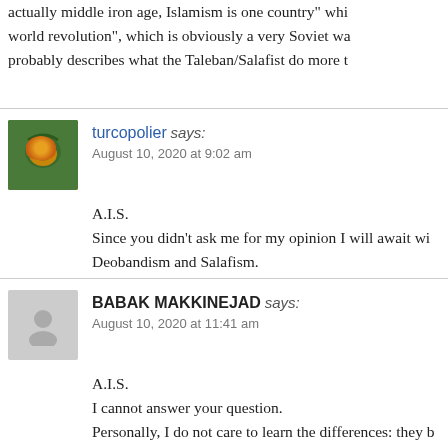actually middle iron age, Islamism is one country" wh... world revolution", which is obviously a very Soviet wa... probably describes what the Taleban/Salafist do more t...
turcopolier says:
August 10, 2020 at 9:02 am
A.I.S.
Since you didn’t ask me for my opinion I will await wi... Deobandism and Salafism.
BABAK MAKKINEJAD says:
August 10, 2020 at 11:41 am
A.I.S.
I cannot answer your question.
Personally, I do not care to learn the differences: they b...